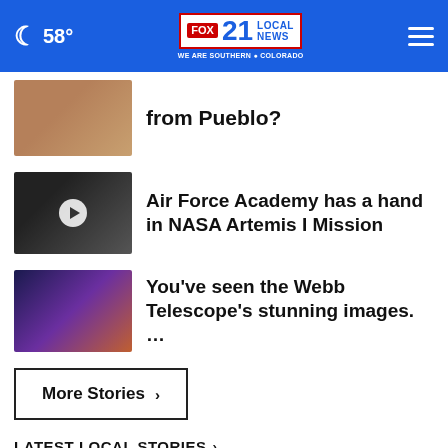58° FOX 21 LOCAL NEWS WE ARE SOUTHERN COLORADO
from Pueblo?
Air Force Academy has a hand in NASA Artemis I Mission
You've seen the Webb Telescope's stunning images. …
More Stories ›
LATEST LOCAL STORIES ›
Penrose veteran receives national recognition for …
News • 2 hours ago
CDPHE opens appointments for